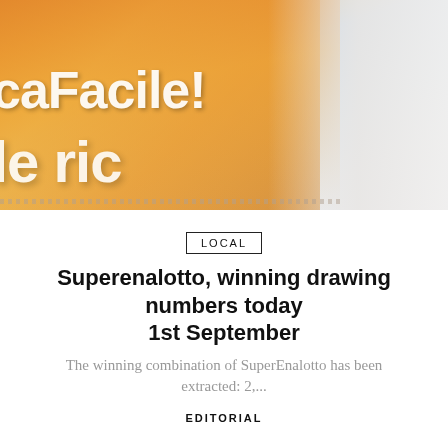[Figure (photo): Close-up photo of a SuperEnalotto lottery ticket/card showing colorful text including 'caFacile!' and 'le ric' on an orange and white background, with a hand partially visible]
LOCAL
Superenalotto, winning drawing numbers today 1st September
The winning combination of SuperEnalotto has been extracted: 2,...
EDITORIAL